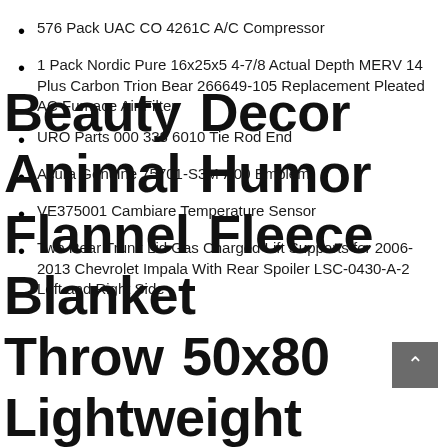576 Pack UAC CO 4261C A/C Compressor
1 Pack Nordic Pure 16x25x5 4-7/8 Actual Depth MERV 14 Plus Carbon Trion Bear 266649-105 Replacement Pleated AC Furnace Air Filter
URO Parts 000 338 6010 Tie Rod End
Acura Genuine 75701-S3M-A00 Emblem
VE375001 Cambiare Temperature Sensor
Two Rear Trunk Lid Gas Charged Lift Supports for 2006-2013 Chevrolet Impala With Rear Spoiler LSC-0430-A-2 Left and Right Side
Beauty Decor Animal Humor Flannel Fleece Blanket Throw 50x80 Lightweight